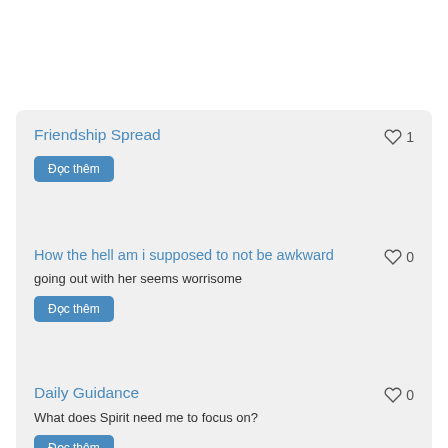Friendship Spread
♡ 1
Đọc thêm
How the hell am i supposed to not be awkward
♡ 0
going out with her seems worrisome
Đọc thêm
Daily Guidance
♡ 0
What does Spirit need me to focus on?
Đọc thêm